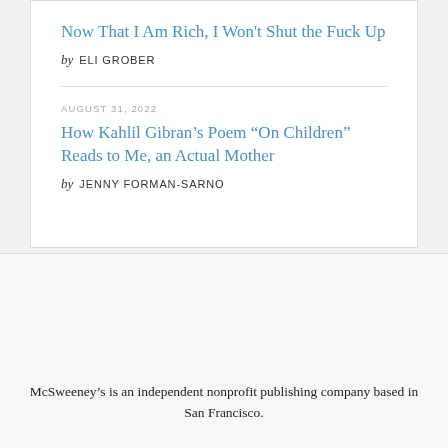Now That I Am Rich, I Won't Shut the Fuck Up
by ELI GROBER
AUGUST 31, 2022
How Kahlil Gibran's Poem “On Children” Reads to Me, an Actual Mother
by JENNY FORMAN-SARNO
McSweeney’s is an independent nonprofit publishing company based in San Francisco.